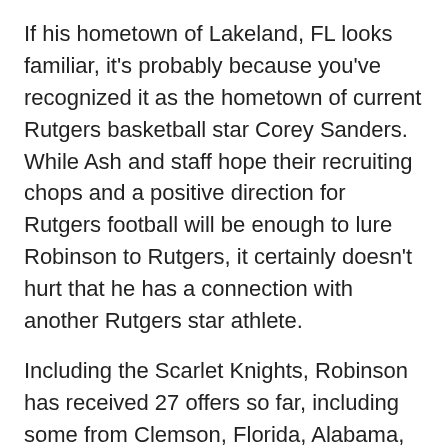If his hometown of Lakeland, FL looks familiar, it's probably because you've recognized it as the hometown of current Rutgers basketball star Corey Sanders. While Ash and staff hope their recruiting chops and a positive direction for Rutgers football will be enough to lure Robinson to Rutgers, it certainly doesn't hurt that he has a connection with another Rutgers star athlete.
Including the Scarlet Knights, Robinson has received 27 offers so far, including some from Clemson, Florida, Alabama, Auburn, Baylor, Oklahoma, Ohio State, USC, Tennessee, and Ole Miss.
ILB David Adams (Pittsburgh, PA)
Rutgers is notably without its three starting linebackers from last season, with Steve Longa, Kaiwan Lewis, and